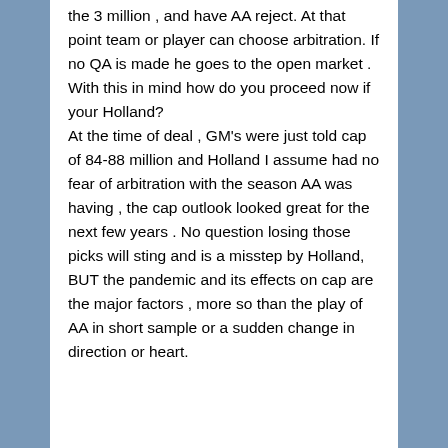the 3 million , and have AA reject. At that point team or player can choose arbitration. If no QA is made he goes to the open market . With this in mind how do you proceed now if your Holland? At the time of deal , GM's were just told cap of 84-88 million and Holland I assume had no fear of arbitration with the season AA was having , the cap outlook looked great for the next few years . No question losing those picks will sting and is a misstep by Holland, BUT the pandemic and its effects on cap are the major factors , more so than the play of AA in short sample or a sudden change in direction or heart.